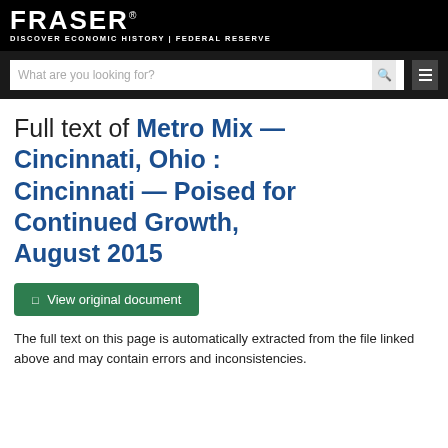FRASER — DISCOVER ECONOMIC HISTORY | FEDERAL RESERVE
Full text of Metro Mix — Cincinnati, Ohio : Cincinnati — Poised for Continued Growth, August 2015
View original document
The full text on this page is automatically extracted from the file linked above and may contain errors and inconsistencies.